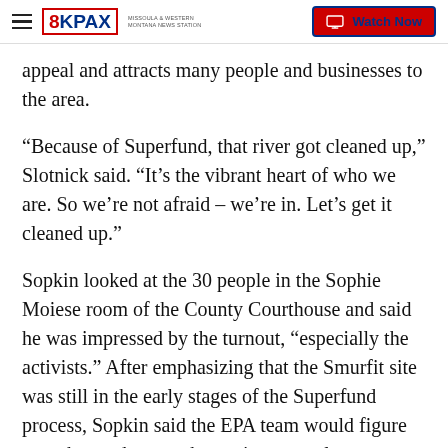8KPAX — Watch Now
appeal and attracts many people and businesses to the area.
“Because of Superfund, that river got cleaned up,” Slotnick said. “It’s the vibrant heart of who we are. So we’re not afraid – we’re in. Let’s get it cleaned up.”
Sopkin looked at the 30 people in the Sophie Moiese room of the County Courthouse and said he was impressed by the turnout, “especially the activists.” After emphasizing that the Smurfit site was still in the early stages of the Superfund process, Sopkin said the EPA team would figure out what to do once the environmental assessment and a feasibility study were complete.